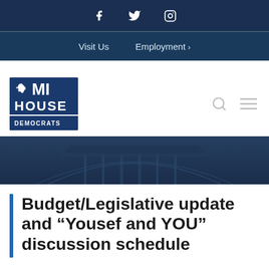Social media icons: Facebook, Twitter, Instagram
Visit Us   Employment
[Figure (logo): MI House Democrats logo - blue box with Michigan outline, MI, HOUSE, DEMOCRATS text]
[Figure (photo): Capitol building architectural detail banner image with dark navy overlay]
Budget/Legislative update and “Yousef and YOU” discussion schedule